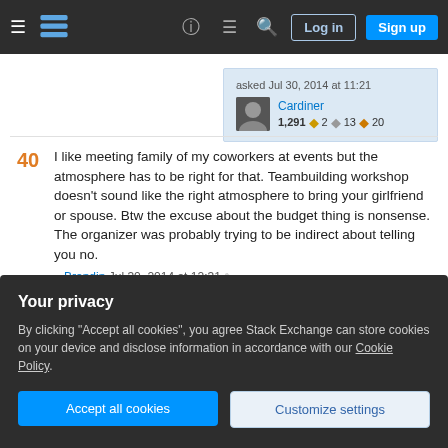Stack Exchange navigation bar with hamburger menu, logo, help, chat, search icons, Log in and Sign up buttons
asked Jul 30, 2014 at 11:21
Cardiner
1,291 ◆2 ◇13 ♦20
40  I like meeting family of my coworkers at events but the atmosphere has to be right for that. Teambuilding workshop doesn't sound like the right atmosphere to bring your girlfriend or spouse. Btw the excuse about the budget thing is nonsense. The organizer was probably trying to be indirect about telling you no. – Brandin Jul 30, 2014 at 12:31 ✏
Your privacy
By clicking "Accept all cookies", you agree Stack Exchange can store cookies on your device and disclose information in accordance with our Cookie Policy.
Accept all cookies
Customize settings